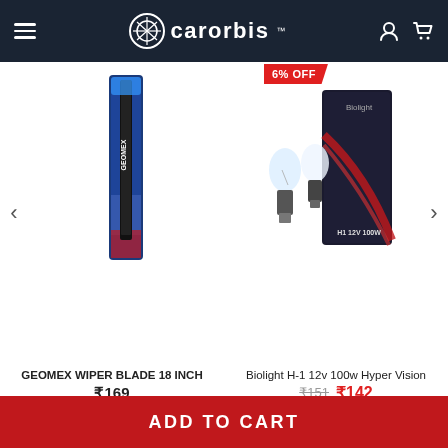carorbis
[Figure (screenshot): Product listing page from carorbis.com showing two car accessories: GEOMEX WIPER BLADE 18 INCH at ₹169, and Biolight H-1 12v 100w Hyper Vision at ₹142 (original price ₹151, 6% OFF). Navigation arrows on sides. ADD TO CART button at bottom.]
GEOMEX WIPER BLADE 18 INCH
₹169
Biolight H-1 12v 100w Hyper Vision
₹151  ₹142
ADD TO CART